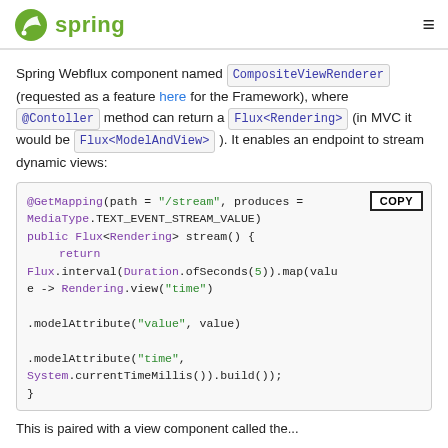Spring
Spring Webflux component named CompositeViewRenderer (requested as a feature here for the Framework), where @Contoller method can return a Flux<Rendering> (in MVC it would be Flux<ModelAndView> ). It enables an endpoint to stream dynamic views:
[Figure (screenshot): Code block showing a Java Spring @GetMapping method that streams Flux<Rendering> using Flux.interval with Duration.ofSeconds(5) and maps to Rendering.view with modelAttribute calls.]
This is paired with a view component called the...